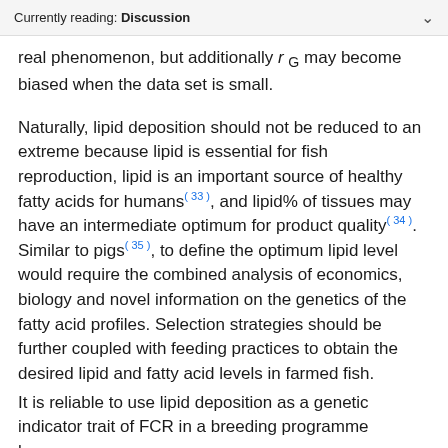Currently reading: Discussion
real phenomenon, but additionally r G may become biased when the data set is small.
Naturally, lipid deposition should not be reduced to an extreme because lipid is essential for fish reproduction, lipid is an important source of healthy fatty acids for humans(33), and lipid% of tissues may have an intermediate optimum for product quality(34). Similar to pigs(35), to define the optimum lipid level would require the combined analysis of economics, biology and novel information on the genetics of the fatty acid profiles. Selection strategies should be further coupled with feeding practices to obtain the desired lipid and fatty acid levels in farmed fish.
It is reliable to use lipid deposition as a genetic indicator trait of FCR in a breeding programme because